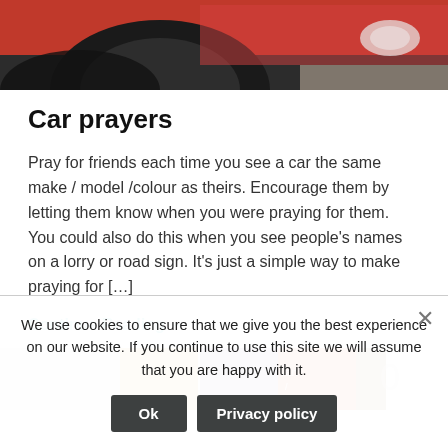[Figure (photo): Close-up photo of a red car showing wheel arch, tire, and headlight area]
Car prayers
Pray for friends each time you see a car the same make / model /colour as theirs. Encourage them by letting them know when you were praying for them.   You could also do this when you see people's names on a lorry or road sign. It's just a simple way to make praying for […]
Continue Reading →
[Figure (photo): Row of thumbnail images partially visible]
We use cookies to ensure that we give you the best experience on our website. If you continue to use this site we will assume that you are happy with it.